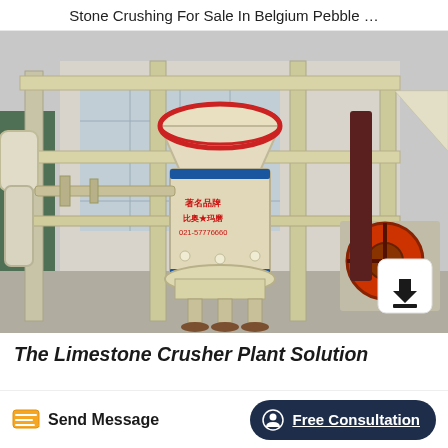Stone Crushing For Sale In Belgium Pebble …
[Figure (photo): Industrial limestone crusher / grinding mill machine (cream/beige colored cylindrical machine with red Chinese text markings and blue trim, mounted on a steel frame structure, photographed outdoors in a factory yard with other machinery visible in background)]
The Limestone Crusher Plant Solution
Send Message
Free Consultation